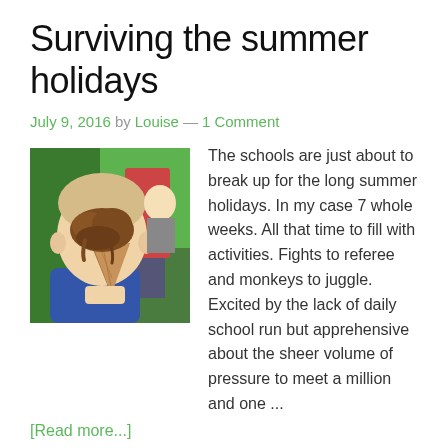Surviving the summer holidays
July 9, 2016 by Louise — 1 Comment
[Figure (photo): Child with an ice cream cone melted/dropped on their face, indoors with green background]
The schools are just about to break up for the long summer holidays. In my case 7 whole weeks. All that time to fill with activities. Fights to referee and monkeys to juggle. Excited by the lack of daily school run but apprehensive about the sheer volume of pressure to meet a million and one ... [Read more...]
Posted in: Holidays, Mental Health, Parenting, Running